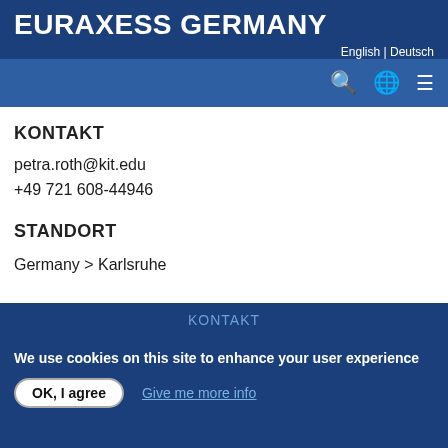EURAXESS GERMANY
English | Deutsch
KONTAKT
petra.roth@kit.edu
+49 721 608-44946
STANDORT
Germany > Karlsruhe
KONTAKT
We use cookies on this site to enhance your user experience
OK, I agree
Give me more info